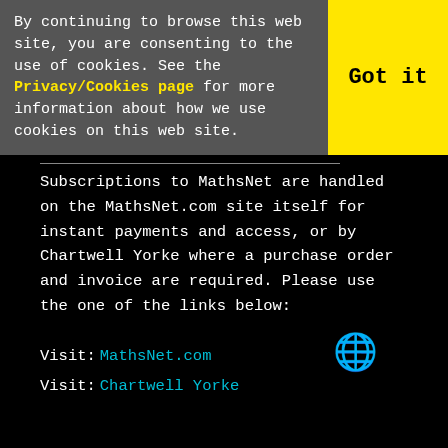By continuing to browse this web site, you are consenting to the use of cookies. See the Privacy/Cookies page for more information about how we use cookies on this web site.
Got it
Subscriptions to MathsNet are handled on the MathsNet.com site itself for instant payments and access, or by Chartwell Yorke where a purchase order and invoice are required. Please use the one of the links below:
Visit: MathsNet.com
Visit: Chartwell Yorke